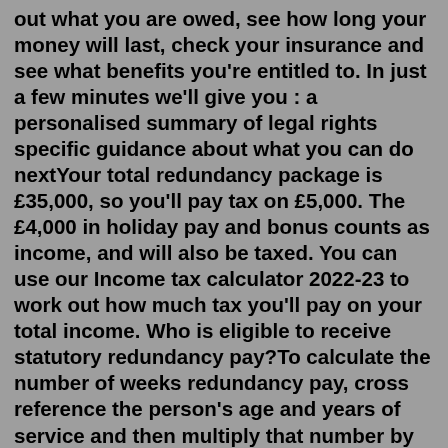out what you are owed, see how long your money will last, check your insurance and see what benefits you're entitled to. In just a few minutes we'll give you : a personalised summary of legal rights specific guidance about what you can do nextYour total redundancy package is £35,000, so you'll pay tax on £5,000. The £4,000 in holiday pay and bonus counts as income, and will also be taxed. You can use our Income tax calculator 2022-23 to work out how much tax you'll pay on your total income. Who is eligible to receive statutory redundancy pay?To calculate the number of weeks redundancy pay, cross reference the person's age and years of service and then multiply that number by the weekly salary (maximum weekly salary is £508). e.g. a person with a weekly salary of £200 aged 22 with 4 years of service will be entitled to two weeks salary e/g/ a total redundancy of £400. Redundancy pay calculations. Below is a redundancy pay calculation chart to make it easier to calculate the time in service with employees ages. If you need more